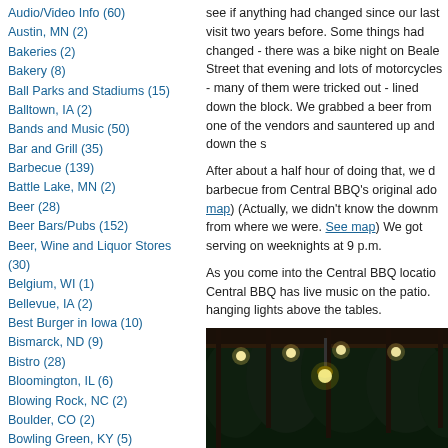Audio/Video Info (60)
Austin, MN (2)
Bakeries (2)
Bakery (8)
Ball Parks and Stadiums (15)
Balltown, IA (2)
Bands and Music (50)
Bar and Grill (35)
Barbecue (139)
Battle Lake, MN (2)
Beer (28)
Beer Bars/Pubs (152)
Beer, Wine and Liquor Stores (30)
Belgium, WI (1)
Bellevue, IA (2)
Best Burger in Iowa (10)
Bismarck, ND (9)
Bistro (28)
Bloomington, IL (6)
Blowing Rock, NC (2)
Boulder, CO (2)
Bowling Green, KY (5)
Brazilian (1)
Breakfast (101)
Breckinridge, CO (3)
Brew Pubs/Tap Rooms (119)
Well, we decided to head down and walk around to see if anything had changed since our last visit two years before. Some things had changed - there was a bike night on Beale Street that evening and lots of motorcycles - many of them were tricked out - lined up down the block. We grabbed a beer from one of the vendors and sauntered up and down the street.
After about a half hour of doing that, we decided to get barbecue from Central BBQ's original address (See map). (Actually, we didn't know the downtown was two blocks from where we were. See map) We got there just before serving on weeknights at 9 p.m.
As you come into the Central BBQ location on Second, Central BBQ has live music on the patio. There are hanging lights above the tables.
[Figure (photo): Night photo of an outdoor patio with white chairs and dark tables, string lights hanging from the ceiling structure, illuminated by warm light against dark foliage background.]